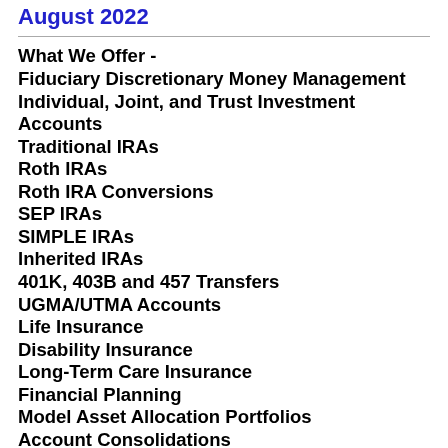August 2022
What We Offer - Fiduciary Discretionary Money Management
Individual, Joint, and Trust Investment Accounts
Traditional IRAs
Roth IRAs
Roth IRA Conversions
SEP IRAs
SIMPLE IRAs
Inherited IRAs
401K, 403B and 457 Transfers
UGMA/UTMA Accounts
Life Insurance
Disability Insurance
Long-Term Care Insurance
Financial Planning
Model Asset Allocation Portfolios
Account Consolidations
Referrals to CPAs and Attorneys
Ongoing Monitoring of Market Risk
Annual Portfolio Rebalancing
Bi-Monthly Newsletter and Video